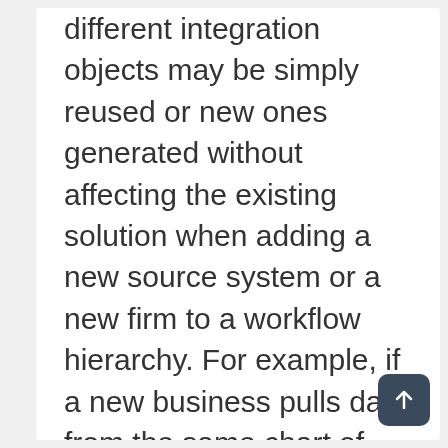different integration objects may be simply reused or new ones generated without affecting the existing solution when adding a new source system or a new firm to a workflow hierarchy. For example, if a new business pulls data from the same chart of accounts (CoA) as an existing one, the connection and transformation tables may easily be shared between them. This is only one of the transformation engine's incredible features, which allows the solution to be